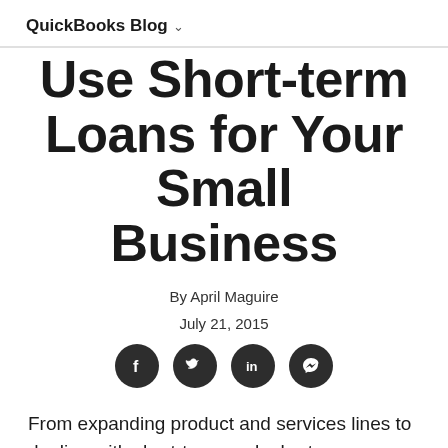QuickBooks Blog ∨
Use Short-term Loans for Your Small Business
By April Maguire
July 21, 2015
[Figure (infographic): Row of four social share icons: Facebook, Twitter, LinkedIn, Messenger — dark circular buttons]
From expanding product and services lines to dealing with short-term cash shortages,